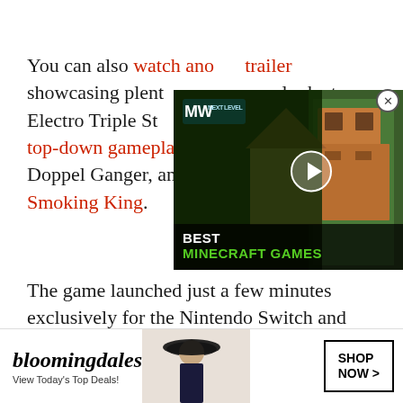You can also watch another trailer showcasing plenty of content, a look at Electro Triple Star, showing off top-down gameplay and the villain Mr. Doppel Ganger, and a third featuring Smoking King.
[Figure (screenshot): Video overlay showing a Minecraft-themed video player with 'BEST MINECRAFT GAMES' text and an MW (Next Level) logo, with a play button]
The game launched just a few minutes exclusively for the Nintendo Switch and also comes in a pretty awesome Collector's Edition
[Figure (screenshot): Bloomingdale's advertisement banner: 'View Today's Top Deals!' with a woman in a hat and SHOP NOW > button]